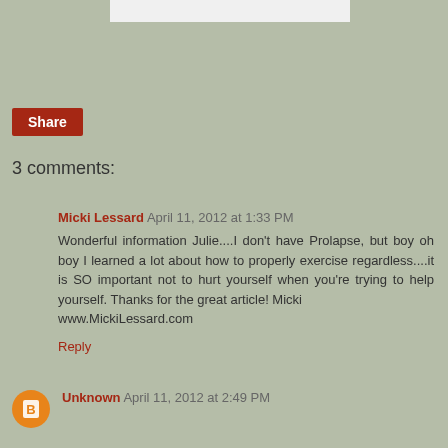[Figure (other): White rectangle bar at top of page]
Share
3 comments:
Micki Lessard April 11, 2012 at 1:33 PM
Wonderful information Julie....I don't have Prolapse, but boy oh boy I learned a lot about how to properly exercise regardless....it is SO important not to hurt yourself when you're trying to help yourself. Thanks for the great article! Micki
www.MickiLessard.com
Reply
Unknown April 11, 2012 at 2:49 PM